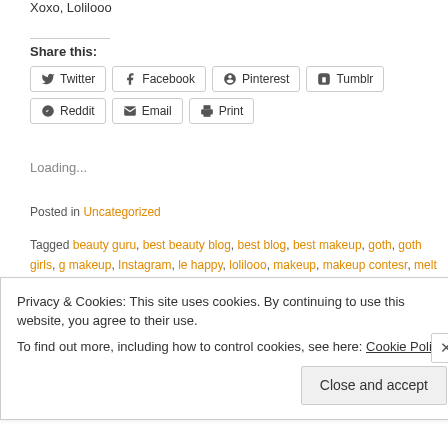Xoxo, Lolilooo
Share this:
Twitter Facebook Pinterest Tumblr Reddit Email Print
Loading...
Posted in Uncategorized
Tagged beauty guru, best beauty blog, best blog, best makeup, goth, goth girls, g makeup, Instagram, le happy, lolilooo, makeup, makeup contesr, melt cosmetic challenge, smokey eye, sprinkle of glitter, vintageortacky, zoella
Privacy & Cookies: This site uses cookies. By continuing to use this website, you agree to their use. To find out more, including how to control cookies, see here: Cookie Policy Close and accept